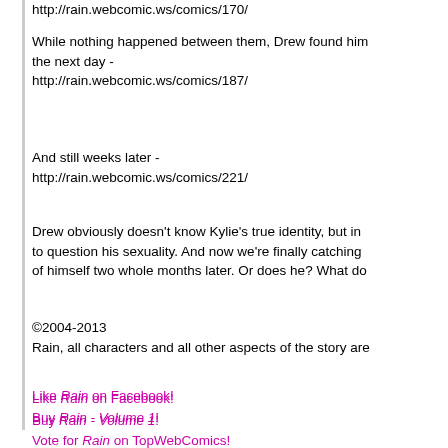http://rain.webcomic.ws/comics/170/
While nothing happened between them, Drew found him the next day - http://rain.webcomic.ws/comics/187/
And still weeks later - http://rain.webcomic.ws/comics/221/
Drew obviously doesn't know Kylie's true identity, but in to question his sexuality. And now we're finally catching of himself two whole months later. Or does he? What do
©2004-2013
Rain, all characters and all other aspects of the story are
Like Rain on Facebook!
Buy Rain - Volume 1!
Vote for Rain on TopWebComics!
Donate to help the author of Rain
Post a Comment
Comments: